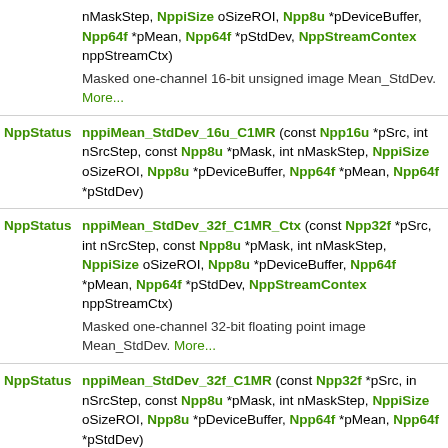| Return Type | Function Signature |
| --- | --- |
| (partial) | nMaskStep, NppiSize oSizeROI, Npp8u *pDeviceBuffer, Npp64f *pMean, Npp64f *pStdDev, NppStreamContext nppStreamCtx)
Masked one-channel 16-bit unsigned image Mean_StdDev. More... |
| NppStatus | nppiMean_StdDev_16u_C1MR (const Npp16u *pSrc, int nSrcStep, const Npp8u *pMask, int nMaskStep, NppiSize oSizeROI, Npp8u *pDeviceBuffer, Npp64f *pMean, Npp64f *pStdDev) |
| NppStatus | nppiMean_StdDev_32f_C1MR_Ctx (const Npp32f *pSrc, int nSrcStep, const Npp8u *pMask, int nMaskStep, NppiSize oSizeROI, Npp8u *pDeviceBuffer, Npp64f *pMean, Npp64f *pStdDev, NppStreamContext nppStreamCtx)
Masked one-channel 32-bit floating point image Mean_StdDev. More... |
| NppStatus | nppiMean_StdDev_32f_C1MR (const Npp32f *pSrc, int nSrcStep, const Npp8u *pMask, int nMaskStep, NppiSize oSizeROI, Npp8u *pDeviceBuffer, Npp64f *pMean, Npp64f *pStdDev) |